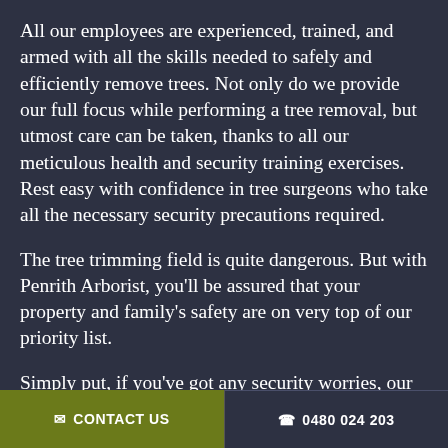All our employees are experienced, trained, and armed with all the skills needed to safely and efficiently remove trees. Not only do we provide our full focus while performing a tree removal, but utmost care can be taken, thanks to all our meticulous health and security training exercises. Rest easy with confidence in tree surgeons who take all the necessary security precautions required.
The tree trimming field is quite dangerous. But with Penrith Arborist, you'll be assured that your property and family's safety are on very top of our priority list.
Simply put, if you've got any security worries, our friendly and professional staff will give you
✉ CONTACT US   📞 0480 024 203